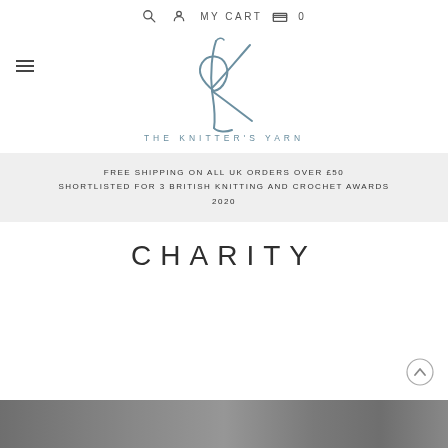MY CART 0
[Figure (logo): The Knitter's Yarn logo - stylized K with cursive lettering and text 'THE KNITTER'S YARN' below]
FREE SHIPPING ON ALL UK ORDERS OVER £50
SHORTLISTED FOR 3 BRITISH KNITTING AND CROCHET AWARDS 2020
CHARITY
[Figure (photo): Partial bottom strip showing a knitted garment photo]